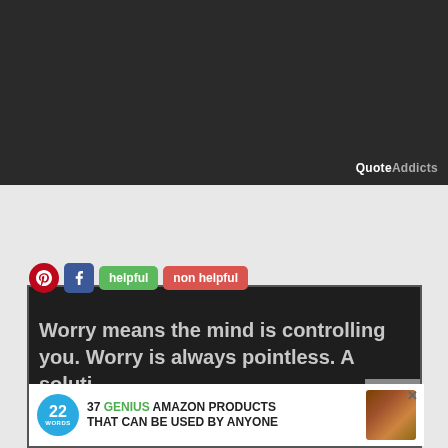[Figure (screenshot): Dark background quote image with QuoteAddicts watermark at bottom right]
[Figure (screenshot): Social sharing bar with Pinterest (red circle), Facebook (blue square), green helpful button, and red non helpful button above a dark card showing a partial quote: 'Worry means the mind is controlling you. Worry is always pointless. A soluti...' with a CLOSE button overlay and an advertisement banner for '37 GENIUS AMAZON PRODUCTS THAT CAN BE USED BY ANYONE' from 22 Words]